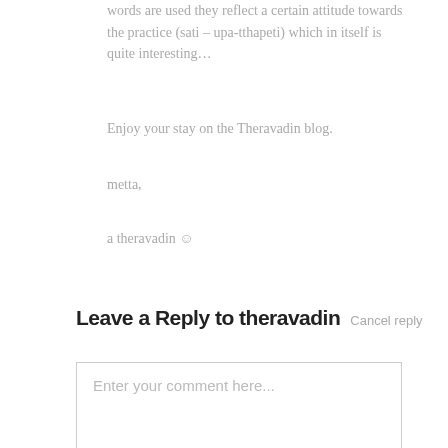words are used they reflect a certain attitude towards the practice (sati – upa-tthapeti) which in itself is quite interesting…
Enjoy your stay on the Theravadin blog.
metta,
a theravadin ☺
Leave a Reply to theravadin
Cancel reply
Enter your comment here...